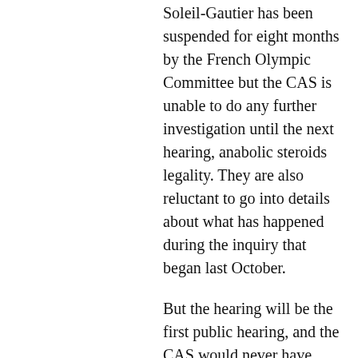Soleil-Gautier has been suspended for eight months by the French Olympic Committee but the CAS is unable to do any further investigation until the next hearing, anabolic steroids legality. They are also reluctant to go into details about what has happened during the inquiry that began last October.
But the hearing will be the first public hearing, and the CAS would never have made the same decision about the case of Armstrong had the US Anti-Doping Agency (USADA) made it clear they had no interest in pursuing the case further, lance armstrong.
Soleil-Gautier has been accused of helping Armstrong evade his contract
[Figure (other): Dark grey circular button with three white ellipsis dots]
Gautier told the paper: "I will take the process of the investigation into myself. We will try to do justice, and with that will do